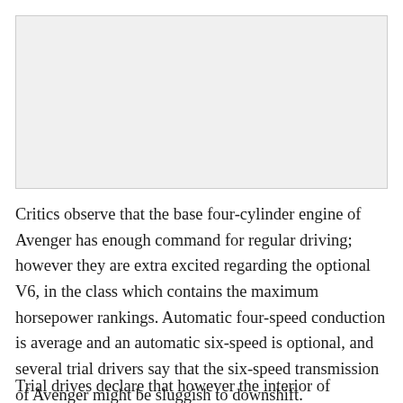[Figure (other): Blank light gray rectangular image placeholder]
Critics observe that the base four-cylinder engine of Avenger has enough command for regular driving; however they are extra excited regarding the optional V6, in the class which contains the maximum horsepower rankings. Automatic four-speed conduction is average and an automatic six-speed is optional, and several trial drivers say that the six-speed transmission of Avenger might be sluggish to downshift.
Trial drives declare that however the interior of Avenger is